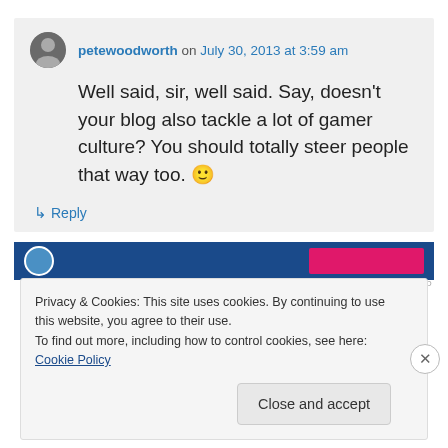petewoodworth on July 30, 2013 at 3:59 am
Well said, sir, well said. Say, doesn't your blog also tackle a lot of gamer culture? You should totally steer people that way too. 🙂
↳ Reply
[Figure (screenshot): Ad banner with blue background and pink button]
REPORT THIS AD
Privacy & Cookies: This site uses cookies. By continuing to use this website, you agree to their use.
To find out more, including how to control cookies, see here: Cookie Policy
Close and accept